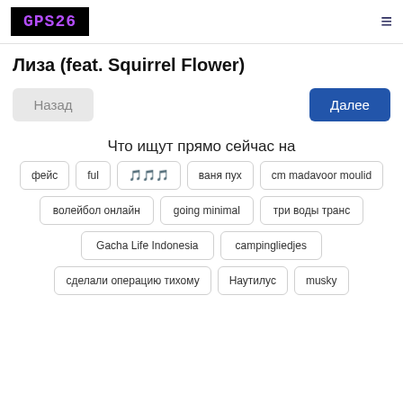GPS26
Лиза (feat. Squirrel Flower)
Назад | Далее
Что ищут прямо сейчас на
фейс
ful
🎵🎵🎵
ваня пух
cm madavoor moulid
волейбол онлайн
going minimal
три воды транс
Gacha Life Indonesia
campingliedjes
сделали операцию тихому
Наутилус
musky